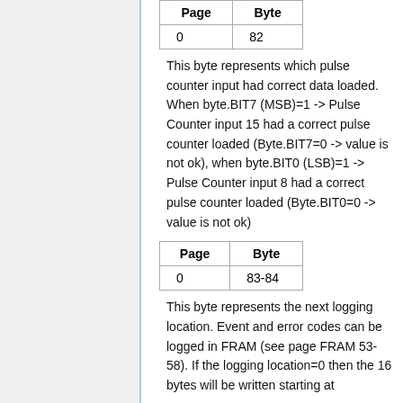| Page | Byte |
| --- | --- |
| 0 | 82 |
This byte represents which pulse counter input had correct data loaded. When byte.BIT7 (MSB)=1 -> Pulse Counter input 15 had a correct pulse counter loaded (Byte.BIT7=0 -> value is not ok), when byte.BIT0 (LSB)=1 -> Pulse Counter input 8 had a correct pulse counter loaded (Byte.BIT0=0 -> value is not ok)
| Page | Byte |
| --- | --- |
| 0 | 83-84 |
This byte represents the next logging location. Event and error codes can be logged in FRAM (see page FRAM 53-58). If the logging location=0 then the 16 bytes will be written starting at